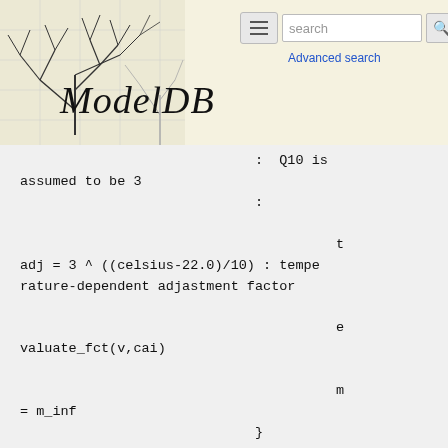[Figure (screenshot): ModelDB website header with neuron tree logo on left, hamburger menu button, search bar with 'search' placeholder and magnifying glass icon, 'Advanced search' link, and 'ModelDB' in italic serif font]
: Q10 is assumed to be 3
:
t adj = 3 ^ ((celsius-22.0)/10) : temperature-dependent adjastment factor
e valuate_fct(v,cai)
m = m_inf
}
PROCEDURE evaluate_fct(v(mV),cai(mM)) {  LOCAL car
c ar = (cai/cac)^2
m _inf = car / ( 1 + car )      : activation steady state value